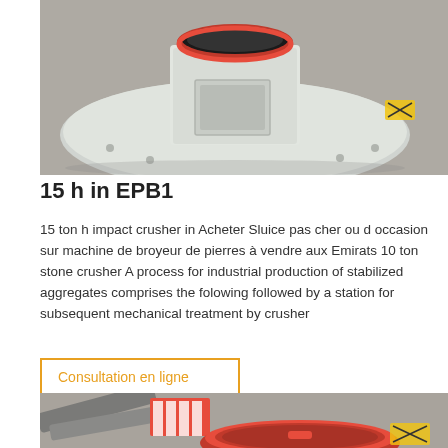[Figure (photo): Industrial crusher equipment component — a large circular grey/white metallic base plate with a square grey enclosure mounted on top and a red circular ring at the top center, photographed on a concrete floor.]
15 h in EPB1
15 ton h impact crusher in Acheter Sluice pas cher ou d occasion sur machine de broyeur de pierres à vendre aux Emirats 10 ton stone crusher A process for industrial production of stabilized aggregates comprises the folowing followed by a station for subsequent mechanical treatment by crusher
Consultation en ligne
[Figure (photo): Industrial machinery parts photographed on concrete floor — includes grey/red crusher components, a red circular bowl/pan, and yellow/black hazard-striped equipment.]